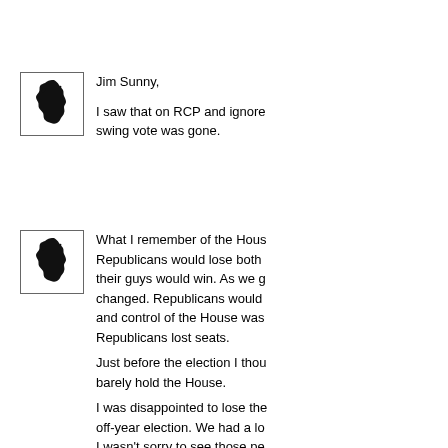[Figure (illustration): New Jersey state silhouette icon in black, inside a square border]
Jim Sunny,

I saw that on RCP and ignore swing vote was gone.
[Figure (illustration): New Jersey state silhouette icon in black, inside a square border]
What I remember of the Hous Republicans would lose both their guys would win. As we g changed. Republicans would and control of the House was Republicans lost seats.

Just before the election I thou barely hold the House.

I was disappointed to lose the off-year election. We had a lo I wasn't sorry to see those pe incumbency. Open seats are